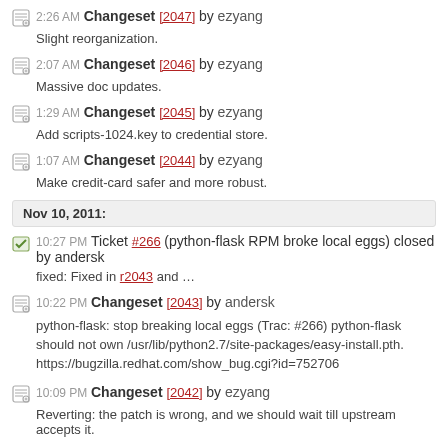2:26 AM Changeset [2047] by ezyang
Slight reorganization.
2:07 AM Changeset [2046] by ezyang
Massive doc updates.
1:29 AM Changeset [2045] by ezyang
Add scripts-1024.key to credential store.
1:07 AM Changeset [2044] by ezyang
Make credit-card safer and more robust.
Nov 10, 2011:
10:27 PM Ticket #266 (python-flask RPM broke local eggs) closed by andersk
fixed: Fixed in r2043 and ...
10:22 PM Changeset [2043] by andersk
python-flask: stop breaking local eggs (Trac: #266) python-flask should not own /usr/lib/python2.7/site-packages/easy-install.pth. https://bugzilla.redhat.com/show_bug.cgi?id=752706
10:09 PM Changeset [2042] by ezyang
Reverting: the patch is wrong, and we should wait till upstream accepts it.
10:01 PM Changeset [2041] by ezyang
PHP extension loading support for .user.ini files.